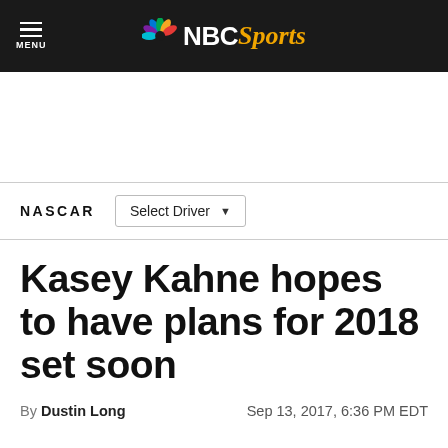NBC Sports
NASCAR
Kasey Kahne hopes to have plans for 2018 set soon
By Dustin Long   Sep 13, 2017, 6:36 PM EDT